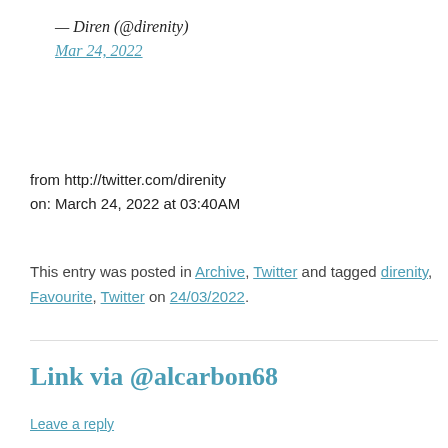— Diren (@direnity)
Mar 24, 2022
from http://twitter.com/direnity
on: March 24, 2022 at 03:40AM
This entry was posted in Archive, Twitter and tagged direnity, Favourite, Twitter on 24/03/2022.
Link via @alcarbon68
Leave a reply